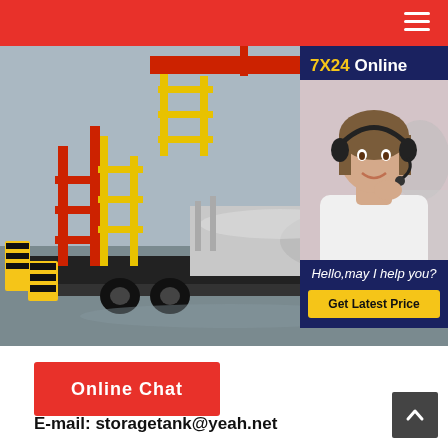[Figure (photo): Industrial storage tank module mounted on a flatbed truck/trailer at an industrial facility, with yellow and red steel structures, piping, and equipment visible in an overcast outdoor setting. An online chat widget overlay shows a female customer service agent wearing a headset with '7X24 Online' header and 'Hello, may I help you?' and 'Get Latest Price' button.]
Online Chat
E-mail: storagetank@yeah.net